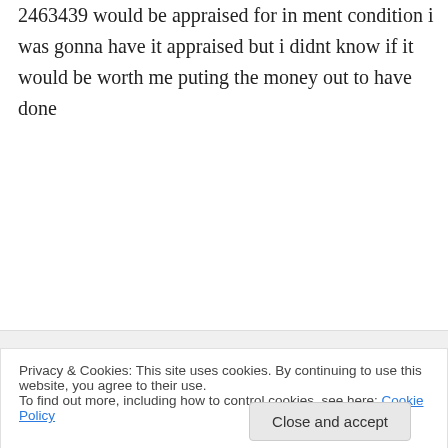2463439 would be appraised for in ment condition i was gonna have it appraised but i didnt know if it would be worth me puting the money out to have done
↳ Reply
Boy on February 6, 2010 at 11:52 pm
Depending on whether you have the box (and what condition it's in) and the
Privacy & Cookies: This site uses cookies. By continuing to use this website, you agree to their use.
To find out more, including how to control cookies, see here: Cookie Policy
Close and accept